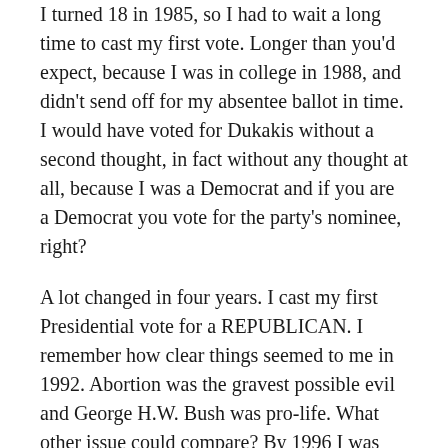I turned 18 in 1985, so I had to wait a long time to cast my first vote. Longer than you'd expect, because I was in college in 1988, and didn't send off for my absentee ballot in time. I would have voted for Dukakis without a second thought, in fact without any thought at all, because I was a Democrat and if you are a Democrat you vote for the party's nominee, right?
A lot changed in four years. I cast my first Presidential vote for a REPUBLICAN. I remember how clear things seemed to me in 1992. Abortion was the gravest possible evil and George H.W. Bush was pro-life. What other issue could compare? By 1996 I was having second thoughts about single issue voting. I couldn't see that my pro-life vote had made any difference–Roe v. Wade still stood. Clinton and Gore held to a pro-choice position, I never thought they were that enthusiastic about it. And I agreed with them on just about every other issue.